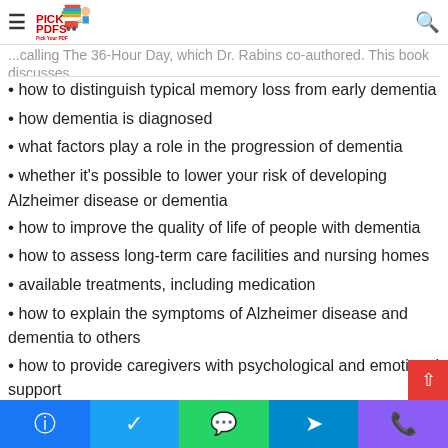PICK PDFS — Pick Your PDF
calling The 36-Hour Day, which Dr. Rabins co-authored. This book discusses
how to distinguish typical memory loss from early dementia
how dementia is diagnosed
what factors play a role in the progression of dementia
whether it's possible to lower your risk of developing Alzheimer disease or dementia
how to improve the quality of life of people with dementia
how to assess long-term care facilities and nursing homes
available treatments, including medication
how to explain the symptoms of Alzheimer disease and dementia to others
how to provide caregivers with psychological and emotional support
Facebook | Twitter | WhatsApp | Telegram | Phone